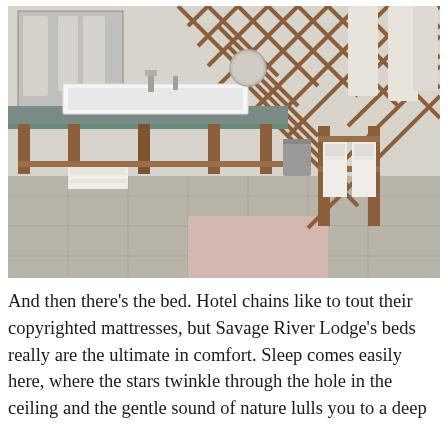[Figure (photo): Interior bathroom photo of a yurt at Savage River Lodge, showing a modern rectangular white sink on a grey countertop with wooden frame vanity, brushed nickel faucets, round mirror, wooden lattice yurt walls in background with white robes hanging, folded white towels on shelf below and on a towel rack, grey tile floor with pink bath mat.]
And then there's the bed. Hotel chains like to tout their copyrighted mattresses, but Savage River Lodge's beds really are the ultimate in comfort. Sleep comes easily here, where the stars twinkle through the hole in the ceiling and the gentle sound of nature lulls you to a deep